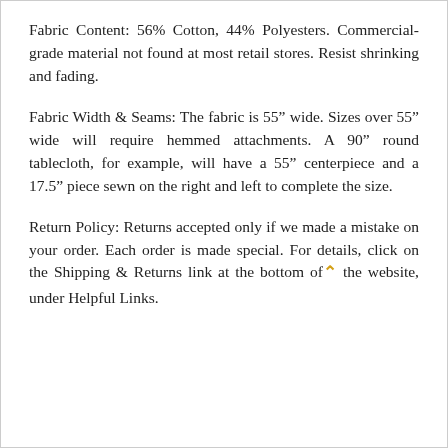Fabric Content: 56% Cotton, 44% Polyesters. Commercial-grade material not found at most retail stores. Resist shrinking and fading.
Fabric Width & Seams: The fabric is 55” wide. Sizes over 55” wide will require hemmed attachments. A 90” round tablecloth, for example, will have a 55” centerpiece and a 17.5” piece sewn on the right and left to complete the size.
Return Policy: Returns accepted only if we made a mistake on your order. Each order is made special. For details, click on the Shipping & Returns link at the bottom of the website, under Helpful Links.